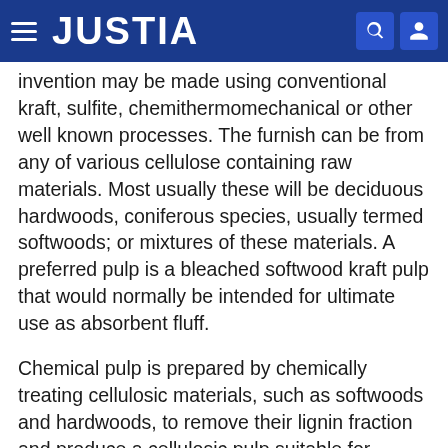JUSTIA
invention may be made using conventional kraft, sulfite, chemithermomechanical or other well known processes. The furnish can be from any of various cellulose containing raw materials. Most usually these will be deciduous hardwoods, coniferous species, usually termed softwoods; or mixtures of these materials. A preferred pulp is a bleached softwood kraft pulp that would normally be intended for ultimate use as absorbent fluff.
Chemical pulp is prepared by chemically treating cellulosic materials, such as softwoods and hardwoods, to remove their lignin fraction and produce a cellulosic pulp suitable for making paper and related non-woven products. Foremost among the chemical processes are the well-known Kraft and sulfite pulping processes. In the Kraft pulping process, a cellulosic source such as